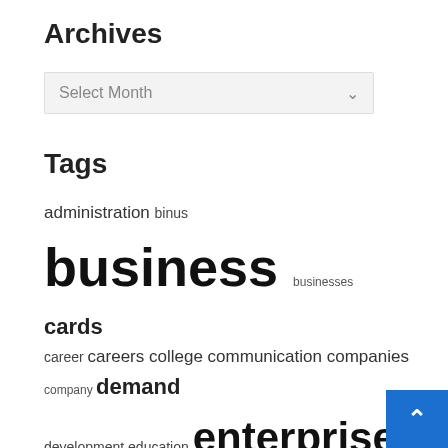Archives
Select Month
Tags
administration binus business businesses cards career careers college communication companies company demand development education enterprise examine excessive expertise export growth health improvement india industrial information international japanese launches leadership leisure management online plans research service small solutions steps strategy study technology three travel triathlon worldwide